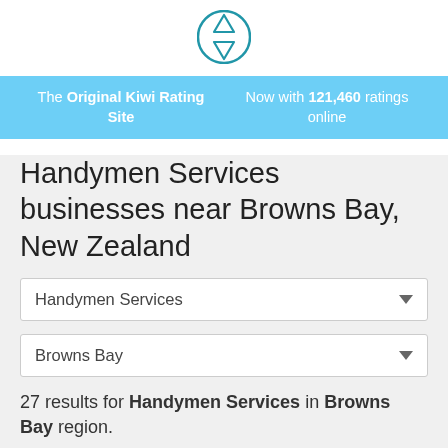[Figure (logo): Kiwi Rating site logo — circular blue star/snowflake icon]
The Original Kiwi Rating Site | Now with 121,460 ratings online
Handymen Services businesses near Browns Bay, New Zealand
Handymen Services (dropdown)
Browns Bay (dropdown)
27 results for Handymen Services in Browns Bay region.
Sort results by:
Nearest to me